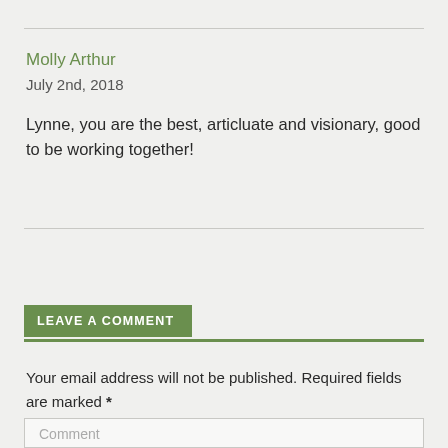Molly Arthur
July 2nd, 2018
Lynne, you are the best, articluate and visionary, good to be working together!
LEAVE A COMMENT
Your email address will not be published. Required fields are marked *
Comment